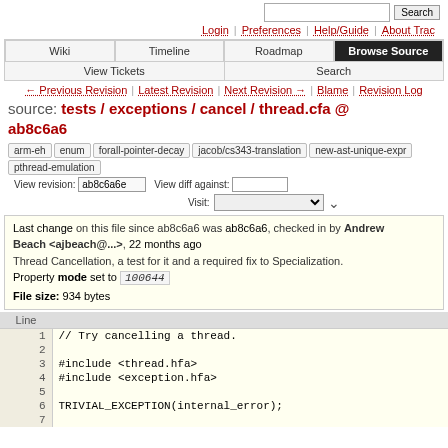Search | Login | Preferences | Help/Guide | About Trac
Wiki | Timeline | Roadmap | Browse Source | View Tickets | Search
← Previous Revision | Latest Revision | Next Revision → | Blame | Revision Log
source: tests / exceptions / cancel / thread.cfa @ ab8c6a6
arm-eh enum forall-pointer-decay jacob/cs343-translation new-ast-unique-expr pthread-emulation View revision: ab8c6a6e View diff against: Visit:
Last change on this file since ab8c6a6 was ab8c6a6, checked in by Andrew Beach <ajbeach@...>, 22 months ago
Thread Cancellation, a test for it and a required fix to Specialization.
Property mode set to 100644
File size: 934 bytes
| Line |  |
| --- | --- |
| 1 | // Try cancelling a thread. |
| 2 |  |
| 3 | #include <thread.hfa> |
| 4 | #include <exception.hfa> |
| 5 |  |
| 6 | TRIVIAL_EXCEPTION(internal_error); |
| 7 |  |